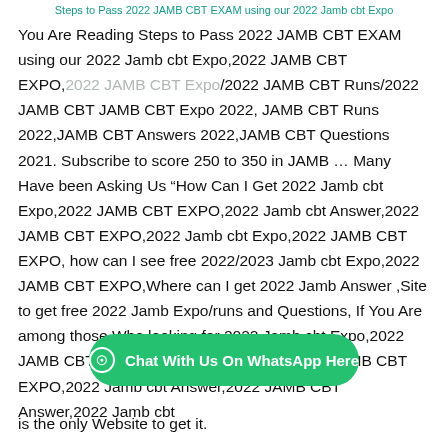Steps to Pass 2022 JAMB CBT EXAM using our 2022 Jamb cbt Expo
You Are Reading Steps to Pass 2022 JAMB CBT EXAM using our 2022 Jamb cbt Expo,2022 JAMB CBT EXPO,2022 JAMB CBT Expo /2022 JAMB CBT Runs/2022 JAMB CBT JAMB CBT Expo 2022, JAMB CBT Runs 2022,JAMB CBT Answers 2022,JAMB CBT Questions 2021. Subscribe to score 250 to 350 in JAMB … Many Have been Asking Us “How Can I Get 2022 Jamb cbt Expo,2022 JAMB CBT EXPO,2022 Jamb cbt Answer,2022 JAMB CBT EXPO,2022 Jamb cbt Expo,2022 JAMB CBT EXPO, how can I see free 2022/2023 Jamb cbt Expo,2022 JAMB CBT EXPO,Where can I get 2022 Jamb Answer ,Site to get free 2022 Jamb Expo/runs and Questions, If You Are among those Who looking for 2022 Jamb cbt Expo,2022 JAMB CBT EXPO,2022 Jamb cbt Expo,2022 JAMB CBT EXPO,2022 Jamb cbt Answer,2022 JAMB CBT Answer,2022 Jamb cbt is the only Website to get it.